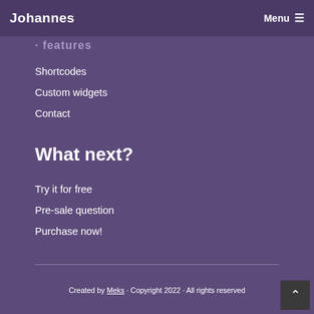Johannes  Menu ☰
· features
Shortcodes
Custom widgets
Contact
What next?
Try it for free
Pre-sale question
Purchase now!
Created by Meks · Copyright 2022 · All rights reserved